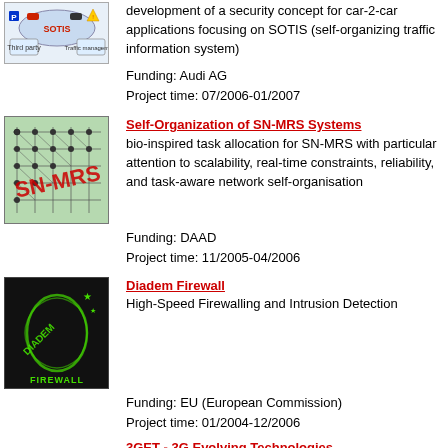development of a security concept for car-2-car applications focusing on SOTIS (self-organizing traffic information system)
Funding: Audi AG
Project time: 07/2006-01/2007
[Figure (illustration): SN-MRS network diagram on green background with red SN-MRS text]
Self-Organization of SN-MRS Systems
bio-inspired task allocation for SN-MRS with particular attention to scalability, real-time constraints, reliability, and task-aware network self-organisation
Funding: DAAD
Project time: 11/2005-04/2006
[Figure (logo): Diadem Firewall logo - dark background with green lizard/gecko graphic and FIREWALL text]
Diadem Firewall
High-Speed Firewalling and Intrusion Detection
Funding: EU (European Commission)
Project time: 01/2004-12/2006
[Figure (logo): 3GET logo with large green 3D text]
3GET - 3G Evolving Technologies
Charging and Accounting in 3G Networks
Funding: BMBF